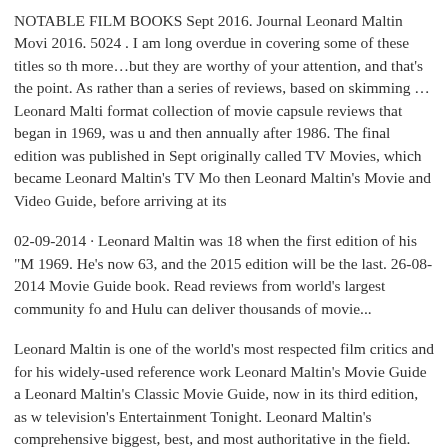NOTABLE FILM BOOKS Sept 2016. Journal Leonard Maltin Movie 2016. 5024 . I am long overdue in covering some of these titles so th more…but they are worthy of your attention, and that's the point. As rather than a series of reviews, based on skimming … Leonard Malti format collection of movie capsule reviews that began in 1969, was u and then annually after 1986. The final edition was published in Sept originally called TV Movies, which became Leonard Maltin's TV Mo then Leonard Maltin's Movie and Video Guide, before arriving at its
02-09-2014 · Leonard Maltin was 18 when the first edition of his "M 1969. He's now 63, and the 2015 edition will be the last. 26-08-2014 Movie Guide book. Read reviews from world's largest community fo and Hulu can deliver thousands of movie...
Leonard Maltin is one of the world's most respected film critics and for his widely-used reference work Leonard Maltin's Movie Guide a Leonard Maltin's Classic Movie Guide, now in its third edition, as w television's Entertainment Tonight. Leonard Maltin's comprehensive biggest, best, and most authoritative in the field. The 2008 edition wi